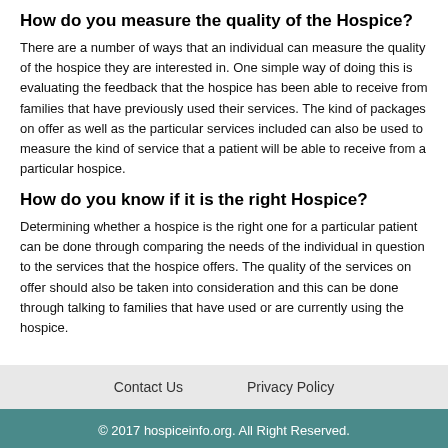How do you measure the quality of the Hospice?
There are a number of ways that an individual can measure the quality of the hospice they are interested in. One simple way of doing this is evaluating the feedback that the hospice has been able to receive from families that have previously used their services. The kind of packages on offer as well as the particular services included can also be used to measure the kind of service that a patient will be able to receive from a particular hospice.
How do you know if it is the right Hospice?
Determining whether a hospice is the right one for a particular patient can be done through comparing the needs of the individual in question to the services that the hospice offers. The quality of the services on offer should also be taken into consideration and this can be done through talking to families that have used or are currently using the hospice.
Contact Us   Privacy Policy
© 2017 hospiceinfo.org. All Right Reserved.